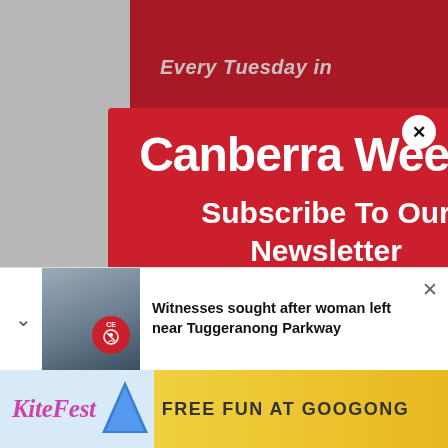[Figure (screenshot): Canberra Weekly newsletter subscription modal popup overlay on a webpage. The modal has a red background and displays the Canberra Weekly logo, 'Subscribe To Our Newsletter' heading, and descriptive text. A close button (X) appears top-right. Behind the modal, partial article text is visible. Below, a push notification bar shows 'Witnesses sought after woman left near Tuggeranong Parkway' with a police-themed image. At the bottom is a KiteFest advertisement banner reading 'FREE FUN AT GOOGONG'.]
Canberra Weekly
Subscribe To Our Newsletter
Join our mailing list to receive the latest news straight to your inbox.
Witnesses sought after woman left near Tuggeranong Parkway
KiteFest FREE FUN AT GOOGONG